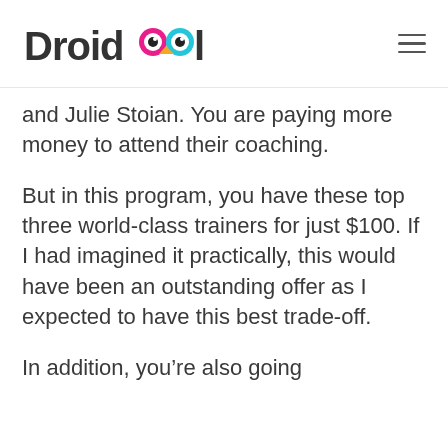DroidOwl
and Julie Stoian. You are paying more money to attend their coaching.
But in this program, you have these top three world-class trainers for just $100. If I had imagined it practically, this would have been an outstanding offer as I expected to have this best trade-off.
In addition, you’re also going